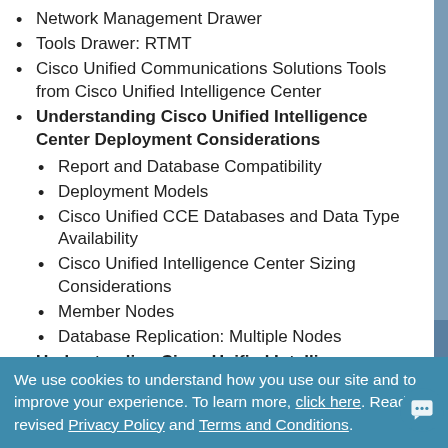Network Management Drawer
Tools Drawer: RTMT
Cisco Unified Communications Solutions Tools from Cisco Unified Intelligence Center
Understanding Cisco Unified Intelligence Center Deployment Considerations
Report and Database Compatibility
Deployment Models
Cisco Unified CCE Databases and Data Type Availability
Cisco Unified Intelligence Center Sizing Considerations
Member Nodes
Database Replication: Multiple Nodes
Understanding Cisco Unified Intelligence Center Security and License Types
We use cookies to understand how you use our site and to improve your experience. To learn more, click here. Read our revised Privacy Policy and Terms and Conditions.